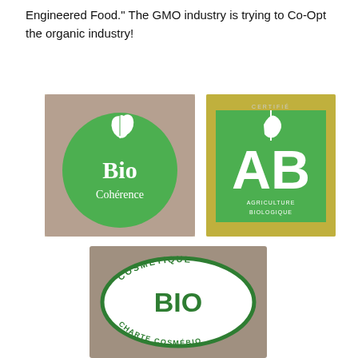Engineered Food." The GMO industry is trying to Co-Opt the organic industry!
[Figure (logo): Bio Cohérence green circular logo with leaf icon]
[Figure (logo): AB Agriculture Biologique green square certification logo]
[Figure (logo): Cosmetique BIO Charte Cosmébio oval green and white logo]
Logos which guarantee organic origin of products
[Figure (logo): Row of organic certification logos including green square, apple, circular stamps, ECO CERT, BIO, ICEA, and ECO logos]